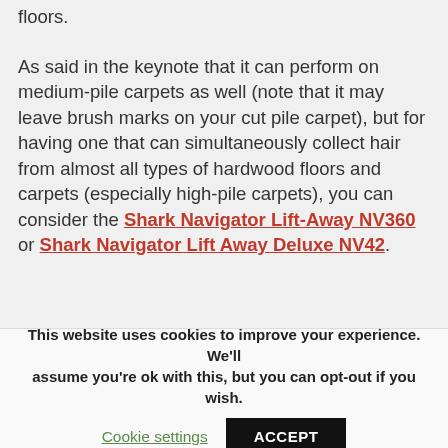floors.
As said in the keynote that it can perform on medium-pile carpets as well (note that it may leave brush marks on your cut pile carpet), but for having one that can simultaneously collect hair from almost all types of hardwood floors and carpets (especially high-pile carpets), you can consider the Shark Navigator Lift-Away NV360 or Shark Navigator Lift Away Deluxe NV42.
This website uses cookies to improve your experience. We'll assume you're ok with this, but you can opt-out if you wish.
Cookie settings   ACCEPT